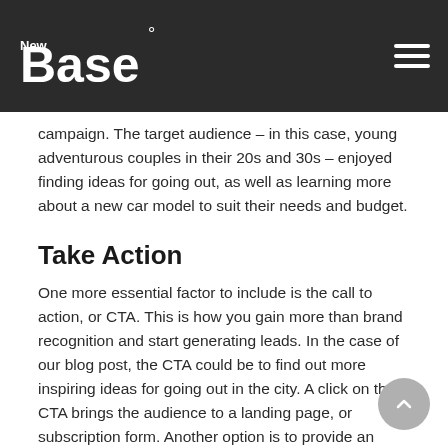NewBase logo and navigation menu
campaign. The target audience – in this case, young adventurous couples in their 20s and 30s – enjoyed finding ideas for going out, as well as learning more about a new car model to suit their needs and budget.
Take Action
One more essential factor to include is the call to action, or CTA. This is how you gain more than brand recognition and start generating leads. In the case of our blog post, the CTA could be to find out more inspiring ideas for going out in the city. A click on the CTA brings the audience to a landing page, or subscription form. Another option is to provide an incentive as part of the CTA, for example the chance